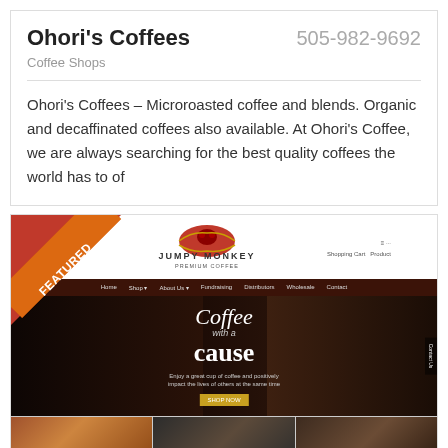Ohori's Coffees
505-982-9692
Coffee Shops
Ohori’s Coffees – Microroasted coffee and blends. Organic and decaffinated coffees also available. At Ohori’s Coffee, we are always searching for the best quality coffees the world has to of
[Figure (screenshot): Screenshot of Jumpy Monkey Premium Coffee website showing the logo, navigation bar, hero banner with 'Coffee with a Cause' text, and three thumbnail images of coffee products. A 'FEATURED' ribbon badge appears in the top-left corner.]
Jumpy Monkey Coffee Roasting Co
712-943-3026